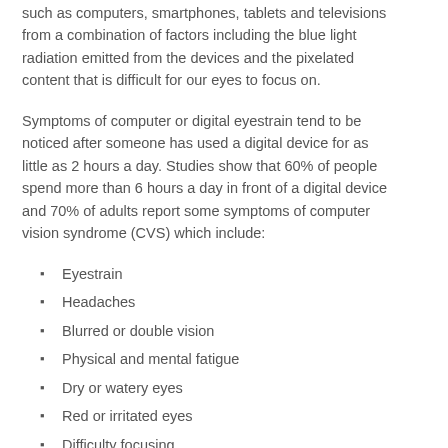such as computers, smartphones, tablets and televisions from a combination of factors including the blue light radiation emitted from the devices and the pixelated content that is difficult for our eyes to focus on.
Symptoms of computer or digital eyestrain tend to be noticed after someone has used a digital device for as little as 2 hours a day. Studies show that 60% of people spend more than 6 hours a day in front of a digital device and 70% of adults report some symptoms of computer vision syndrome (CVS) which include:
Eyestrain
Headaches
Blurred or double vision
Physical and mental fatigue
Dry or watery eyes
Red or irritated eyes
Difficulty focusing
Sensitivity to light or